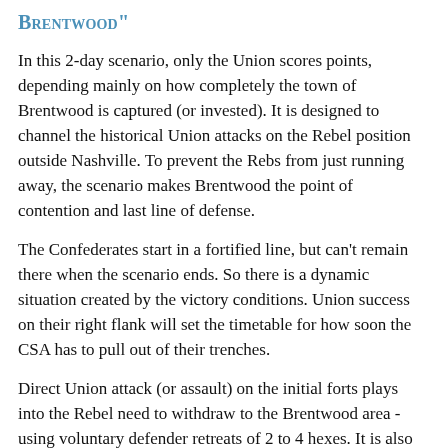Scenario 5: "The Battle of Nashville-Brentwood"
In this 2-day scenario, only the Union scores points, depending mainly on how completely the town of Brentwood is captured (or invested). It is designed to channel the historical Union attacks on the Rebel position outside Nashville. To prevent the Rebs from just running away, the scenario makes Brentwood the point of contention and last line of defense.
The Confederates start in a fortified line, but can't remain there when the scenario ends. So there is a dynamic situation created by the victory conditions. Union success on their right flank will set the timetable for how soon the CSA has to pull out of their trenches.
Direct Union attack (or assault) on the initial forts plays into the Rebel need to withdraw to the Brentwood area - using voluntary defender retreats of 2 to 4 hexes.  It is also expensive (casualty wise) for the Union. So flanking and infiltration through gaps in the lines and high ground ares the way to go and the scenario